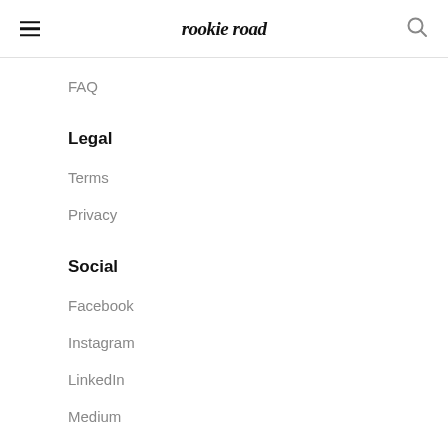rookie road
FAQ
Legal
Terms
Privacy
Social
Facebook
Instagram
LinkedIn
Medium
Pinterest
Twitter
YouTube